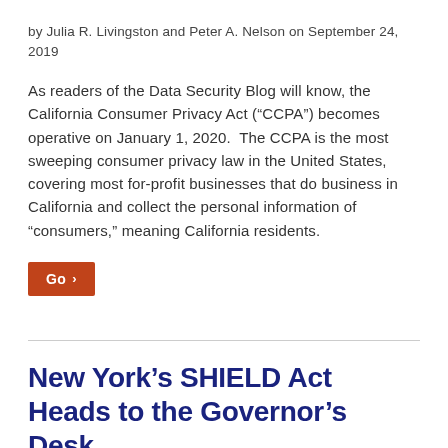by Julia R. Livingston and Peter A. Nelson on September 24, 2019
As readers of the Data Security Blog will know, the California Consumer Privacy Act (“CCPA”) becomes operative on January 1, 2020.  The CCPA is the most sweeping consumer privacy law in the United States, covering most for-profit businesses that do business in California and collect the personal information of “consumers,” meaning California residents.
Go ›
New York’s SHIELD Act Heads to the Governor’s Desk